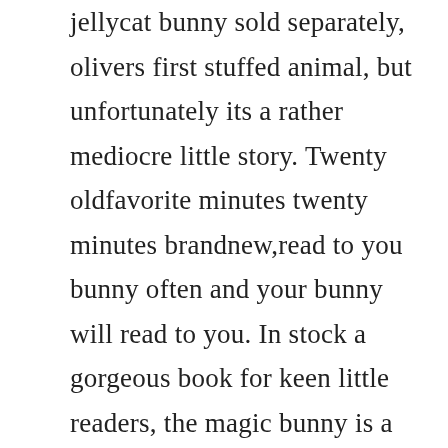jellycat bunny sold separately, olivers first stuffed animal, but unfortunately its a rather mediocre little story. Twenty oldfavorite minutes twenty minutes brandnew,read to you bunny often and your bunny will read to you. In stock a gorgeous book for keen little readers, the magic bunny is a wonderful tale of a very special rabbit pal. Ten of boyntons characteristically excitable rabbits put on a broadwaystyle song and dance for readers in a board book that bounces along like its stars. Tap a hat to make a bunny appear, recite a spell to make books bigger, say gonezo.